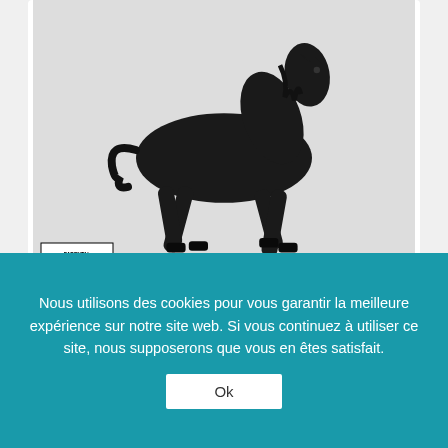[Figure (illustration): Album art for Old Town Road by Lil Nas X — a dark horse running on a white/grey background with Parental Advisory label in bottom left]
OLD TOWN ROAD
LIL NAS X
79
[Figure (illustration): Partially visible album art with yellow/golden background and a dark circular image, for rank 79 entry]
Nous utilisons des cookies pour vous garantir la meilleure expérience sur notre site web. Si vous continuez à utiliser ce site, nous supposerons que vous en êtes satisfait.